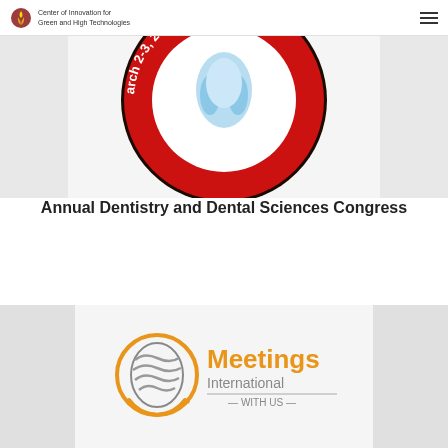Center of Innovation for Green and High Technologies
[Figure (logo): Circular conference badge with red border reading 'arch 2-3, 2020 Edinburgh, Scotla' with dental imagery in center]
Annual Dentistry and Dental Sciences Congress
Read more
[Figure (logo): Meetings International WITH US logo — orange globe with grey wave, orange text 'Meetings', grey text 'International', grey text '— WITH US —']